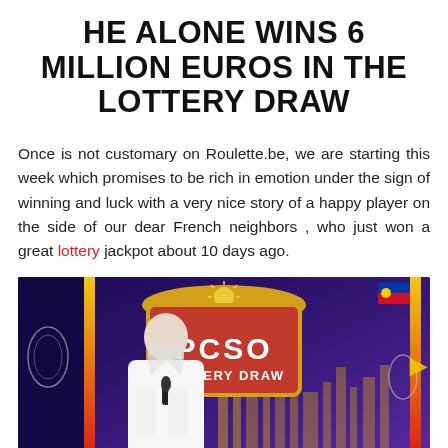HE ALONE WINS 6 MILLION EUROS IN THE LOTTERY DRAW
Once is not customary on Roulette.be, we are starting this week which promises to be rich in emotion under the sign of winning and luck with a very nice story of a happy player on the side of our dear French neighbors , who just won a great lottery jackpot about 10 days ago.
[Figure (photo): A woman in a white blazer and face mask holding a microphone stands in front of a PCSO Lottery Draw broadcast set with red signage, gold decorative arch, colorful blue and purple background, and Philippine flag visible.]